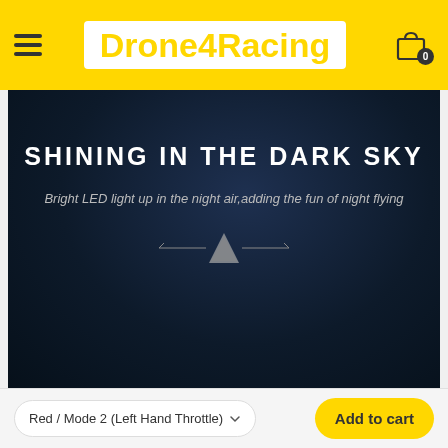Drone4Racing
[Figure (photo): Dark background product image showing text 'SHINING IN THE DARK SKY' with subtitle 'Bright LED light up in the night air,adding the fun of night flying' and a small drone silhouette icon with decorative lines]
Red / Mode 2 (Left Hand Throttle)
Add to cart